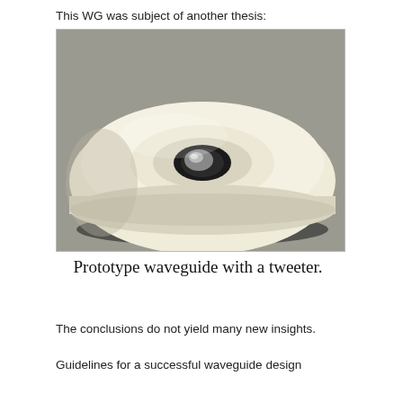This WG was subject of another thesis:
[Figure (photo): Photograph of a prototype waveguide with a tweeter. The object is a round, disc-shaped cream/white colored component with a small black-ringed metallic tweeter centered on its top surface, photographed on a grey background.]
Prototype waveguide with a tweeter.
The conclusions do not yield many new insights.
Guidelines for a successful waveguide design